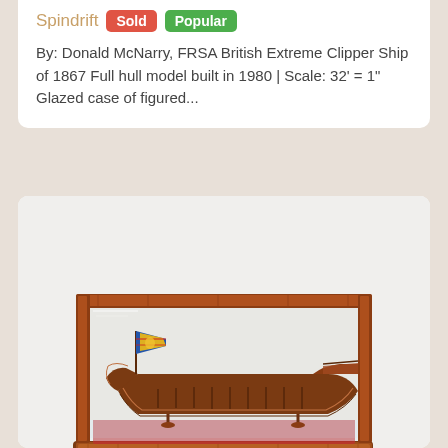Spindrift
By: Donald McNarry, FRSA British Extreme Clipper Ship of 1867 Full hull model built in 1980 | Scale: 32' = 1" Glazed case of figured...
[Figure (photo): A ship model of an English Royal Barge c 1600 displayed in a wooden glazed display case with a red velvet base. The model features a colorful flag at the bow.]
English Royal Barge c 1600